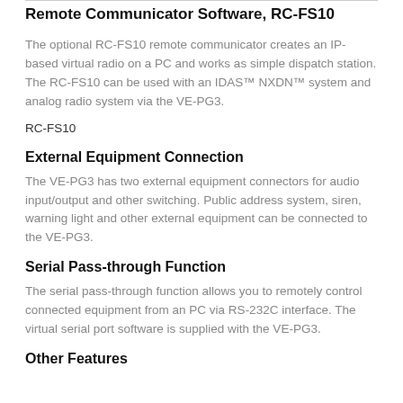Remote Communicator Software, RC-FS10
The optional RC-FS10 remote communicator creates an IP-based virtual radio on a PC and works as simple dispatch station. The RC-FS10 can be used with an IDAS™ NXDN™ system and analog radio system via the VE-PG3.
RC-FS10
External Equipment Connection
The VE-PG3 has two external equipment connectors for audio input/output and other switching. Public address system, siren, warning light and other external equipment can be connected to the VE-PG3.
Serial Pass-through Function
The serial pass-through function allows you to remotely control connected equipment from an PC via RS-232C interface. The virtual serial port software is supplied with the VE-PG3.
Other Features